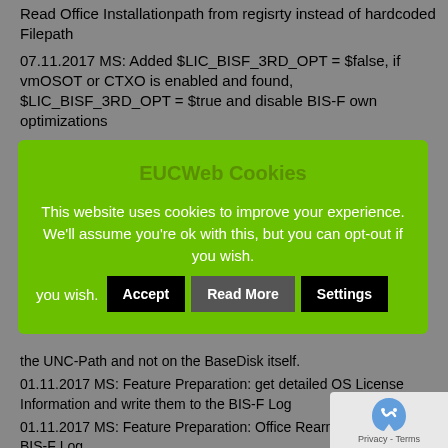Read Office Installationpath from regisrty instead of hardcoded Filepath
07.11.2017 MS: Added $LIC_BISF_3RD_OPT = $false, if vmOSOT or CTXO is enabled and found, $LIC_BISF_3RD_OPT = $true and disable BIS-F own optimizations
EUCWeb Cookies
This website uses cookies to improve your experience. We'll assume you're ok with this, but you can opt-out if you wish.
the UNC-Path and not on the BaseDisk itself.
01.11.2017 MS: Feature Preparation: get detailed OS License Information and write them to the BIS-F Log
01.11.2017 MS: Feature Preparation: Office Rearm sta writes to BIS-F Log
01.11.2017 MS: Feature Personalization – get Office